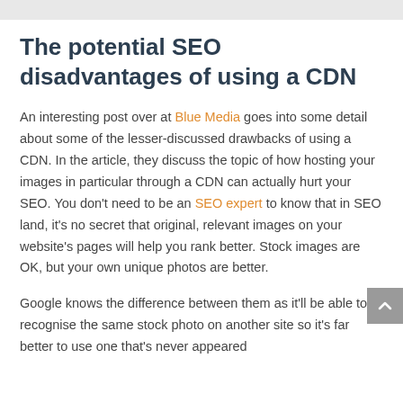The potential SEO disadvantages of using a CDN
An interesting post over at Blue Media goes into some detail about some of the lesser-discussed drawbacks of using a CDN. In the article, they discuss the topic of how hosting your images in particular through a CDN can actually hurt your SEO. You don't need to be an SEO expert to know that in SEO land, it's no secret that original, relevant images on your website's pages will help you rank better. Stock images are OK, but your own unique photos are better.
Google knows the difference between them as it'll be able to recognise the same stock photo on another site so it's far better to use one that's never appeared